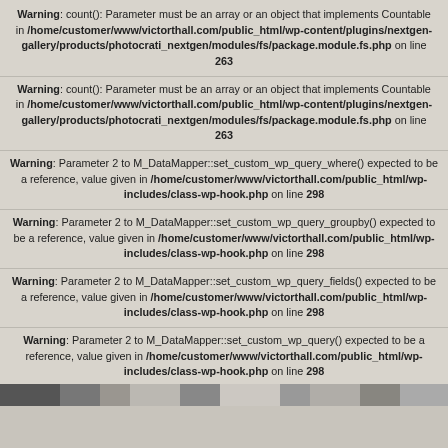Warning: count(): Parameter must be an array or an object that implements Countable in /home/customer/www/victorthall.com/public_html/wp-content/plugins/nextgen-gallery/products/photocrati_nextgen/modules/fs/package.module.fs.php on line 263
Warning: count(): Parameter must be an array or an object that implements Countable in /home/customer/www/victorthall.com/public_html/wp-content/plugins/nextgen-gallery/products/photocrati_nextgen/modules/fs/package.module.fs.php on line 263
Warning: Parameter 2 to M_DataMapper::set_custom_wp_query_where() expected to be a reference, value given in /home/customer/www/victorthall.com/public_html/wp-includes/class-wp-hook.php on line 298
Warning: Parameter 2 to M_DataMapper::set_custom_wp_query_groupby() expected to be a reference, value given in /home/customer/www/victorthall.com/public_html/wp-includes/class-wp-hook.php on line 298
Warning: Parameter 2 to M_DataMapper::set_custom_wp_query_fields() expected to be a reference, value given in /home/customer/www/victorthall.com/public_html/wp-includes/class-wp-hook.php on line 298
Warning: Parameter 2 to M_DataMapper::set_custom_wp_query() expected to be a reference, value given in /home/customer/www/victorthall.com/public_html/wp-includes/class-wp-hook.php on line 298
[Figure (photo): A horizontal photo strip partially visible at the bottom of the warning messages area]